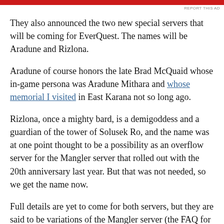[Figure (other): Red advertisement banner at top of page]
REPORT THIS AD
They also announced the two new special servers that will be coming for EverQuest.  The names will be Aradune and Rizlona.
Aradune of course honors the late Brad McQuaid whose in-game persona was Aradune Mithara and whose memorial I visited in East Karana not so long ago.
Rizlona, once a mighty bard, is a demigoddess and a guardian of the tower of Solusek Ro, and the name was at one point thought to be a possibility as an overflow server for the Mangler server that rolled out with the 20th anniversary last year.  But that was not needed, so we get the name now.
Full details are yet to come for both servers, but they are said to be variations of the Mangler server (the FAQ for which you